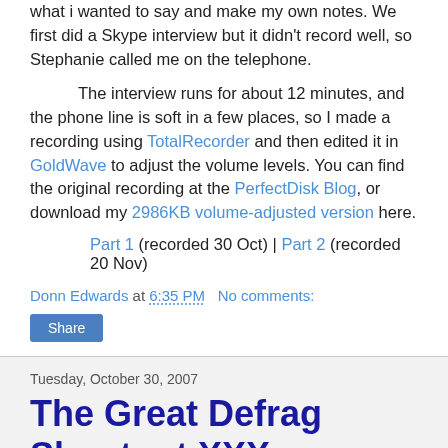what i wanted to say and make my own notes. We first did a Skype interview but it didn't record well, so Stephanie called me on the telephone.
The interview runs for about 12 minutes, and the phone line is soft in a few places, so I made a recording using TotalRecorder and then edited it in GoldWave to adjust the volume levels. You can find the original recording at the PerfectDisk Blog, or download my 2986KB volume-adjusted version here.
Part 1 (recorded 30 Oct) | Part 2 (recorded 20 Nov)
Donn Edwards at 6:35 PM   No comments:
Share
Tuesday, October 30, 2007
The Great Defrag Shootout XXX: